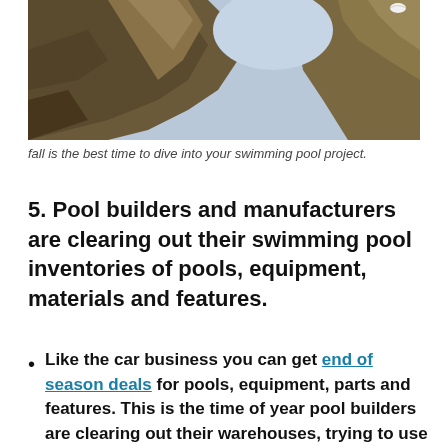[Figure (photo): Photo taken from below looking up between two rocky cliff formations against a light blue sky, with a bird visible at the top right.]
fall is the best time to dive into your swimming pool project.
5. Pool builders and manufacturers are clearing out their swimming pool inventories of pools, equipment, materials and features.
Like the car business you can get end of season deals for pools, equipment, parts and features. This is the time of year pool builders are clearing out their warehouses, trying to use all of their